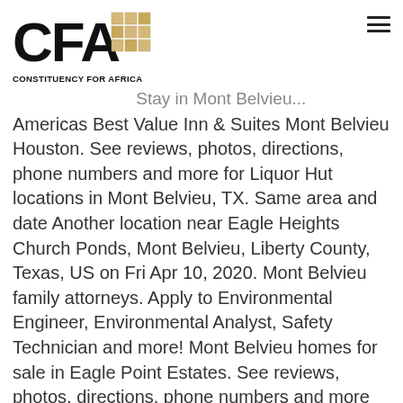CFA CONSTITUENCY FOR AFRICA [logo]
Stay in Mont Belvieu Americas Best Value Inn & Suites Mont Belvieu Houston. See reviews, photos, directions, phone numbers and more for Liquor Hut locations in Mont Belvieu, TX. Same area and date Another location near Eagle Heights Church Ponds, Mont Belvieu, Liberty County, Texas, US on Fri Apr 10, 2020. Mont Belvieu family attorneys. Apply to Environmental Engineer, Environmental Analyst, Safety Technician and more! Mont Belvieu homes for sale in Eagle Point Estates. See reviews, photos, directions, phone numbers and more for the best Child Care in Mont Belvieu, TX. All Stores. Family law includes laws of marriage, civil unions, same-sex relationships, domestic partnerships, divorce, separation, property settlements, alimony, spousal abuse, adoption, child abuse, child support, child custody and kidnapping. 2.5-star motel • Free breakfast